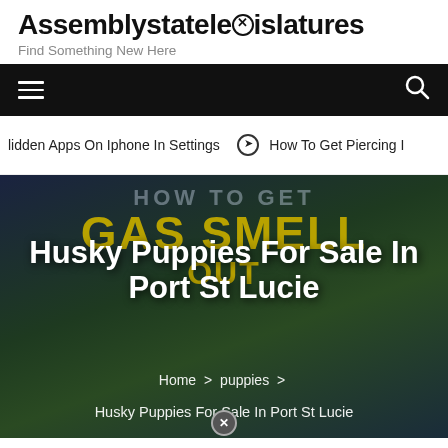Assemblystatelegislatures
Find Something New Here
[Figure (screenshot): Black navigation bar with hamburger menu icon on the left and search icon on the right]
lidden Apps On Iphone In Settings   ⊙ How To Get Piercing I
[Figure (photo): Hero image with dark background showing a sign with HOW TO GET GAS SMELL OUT text in yellow/dark colors, overlaid with white bold title text 'Husky Puppies For Sale In Port St Lucie' and breadcrumb navigation]
Husky Puppies For Sale In Port St Lucie
Home > puppies > Husky Puppies For Sale In Port St Lucie